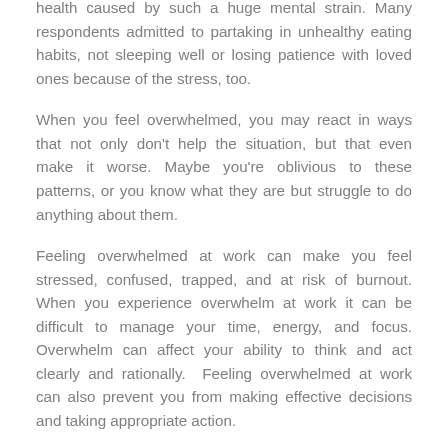health caused by such a huge mental strain. Many respondents admitted to partaking in unhealthy eating habits, not sleeping well or losing patience with loved ones because of the stress, too.
When you feel overwhelmed, you may react in ways that not only don't help the situation, but that even make it worse. Maybe you're oblivious to these patterns, or you know what they are but struggle to do anything about them.
Feeling overwhelmed at work can make you feel stressed, confused, trapped, and at risk of burnout. When you experience overwhelm at work it can be difficult to manage your time, energy, and focus. Overwhelm can affect your ability to think and act clearly and rationally. Feeling overwhelmed at work can also prevent you from making effective decisions and taking appropriate action.